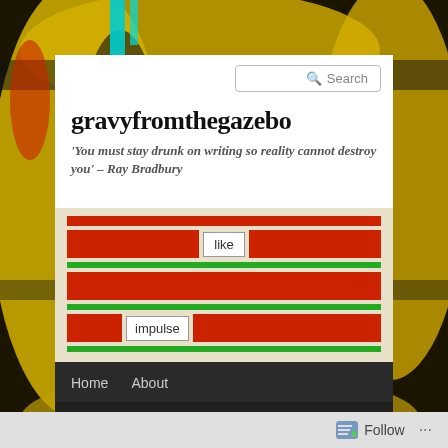[Figure (screenshot): Website screenshot of gravyfromthegazebo blog with colorful painted background (yellow, black, cyan, red), white content card with search box, blog title, subtitle quote, social widget with red/green bars, dark navigation bar, and follow button at bottom]
gravyfromthegazebo
'You must stay drunk on writing so reality cannot destroy you' – Ray Bradbury
Home    About
Poetry Collections: free pdf downloads